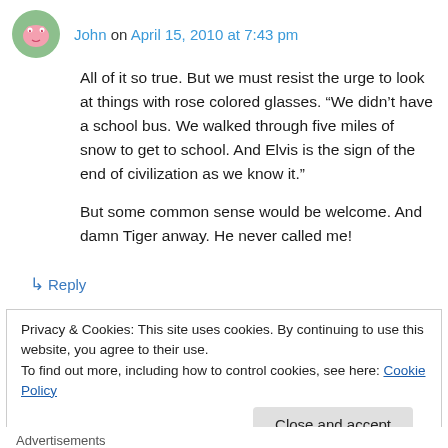John on April 15, 2010 at 7:43 pm
All of it so true. But we must resist the urge to look at things with rose colored glasses. “We didn’t have a school bus. We walked through five miles of snow to get to school. And Elvis is the sign of the end of civilization as we know it.”
But some common sense would be welcome. And damn Tiger anway. He never called me!
↳ Reply
Privacy & Cookies: This site uses cookies. By continuing to use this website, you agree to their use.
To find out more, including how to control cookies, see here: Cookie Policy
Close and accept
Advertisements